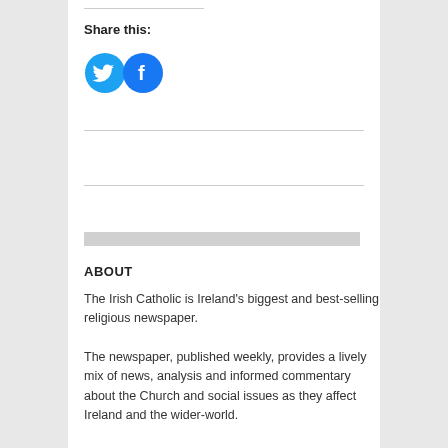Share this:
[Figure (logo): Twitter bird icon (cyan/teal circle) and Facebook 'f' icon (blue circle) social sharing buttons]
ABOUT
The Irish Catholic is Ireland's biggest and best-selling religious newspaper.
The newspaper, published weekly, provides a lively mix of news, analysis and informed commentary about the Church and social issues as they affect Ireland and the wider-world.